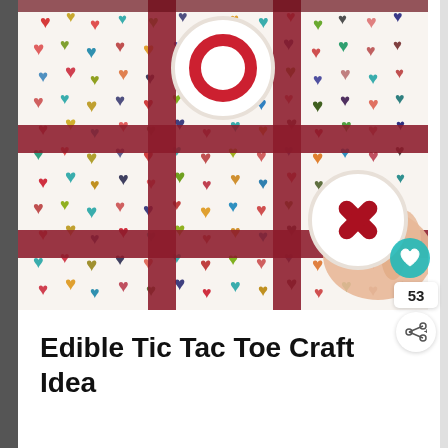[Figure (photo): A tic-tac-toe board made from dark red/maroon tape strips on colorful heart-patterned paper. There is a round white cookie/cracker with a red O shape in the top-center cell, and a hand holds a round white piece with a red X shape near the bottom-right. The background is covered with multicolored hearts in red, teal, yellow, olive, dark brown, and pink.]
Edible Tic Tac Toe Craft Idea